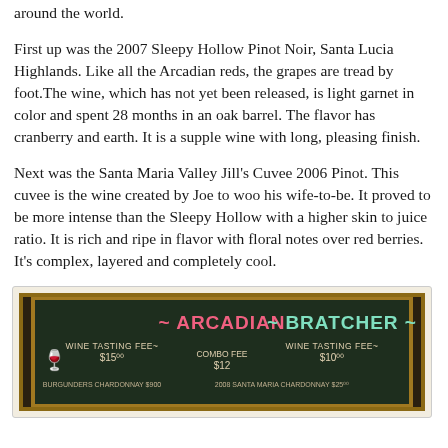around the world.
First up was the 2007 Sleepy Hollow Pinot Noir, Santa Lucia Highlands. Like all the Arcadian reds, the grapes are tread by foot.The wine, which has not yet been released, is light garnet in color and spent 28 months in an oak barrel. The flavor has cranberry and earth. It is a supple wine with long, pleasing finish.
Next was the Santa Maria Valley Jill's Cuvee 2006 Pinot. This cuvee is the wine created by Joe to woo his wife-to-be. It proved to be more intense than the Sleepy Hollow with a higher skin to juice ratio. It is rich and ripe in flavor with floral notes over red berries. It's complex, layered and completely cool.
[Figure (photo): Chalkboard sign showing 'ARCADIAN ~ BRATCHER ~' with wine tasting fees listed: Arcadian Wine Tasting Fee $15, Bratcher Wine Tasting Fee $10, Combo Fee $12, and wine varieties listed below.]